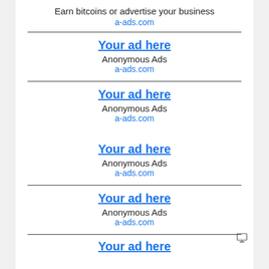Earn bitcoins or advertise your business
a-ads.com
Your ad here
Anonymous Ads
a-ads.com
Your ad here
Anonymous Ads
a-ads.com
[Figure (illustration): Small monitor/display icon]
Your ad here
Anonymous Ads
a-ads.com
Your ad here
Anonymous Ads
a-ads.com
Your ad here